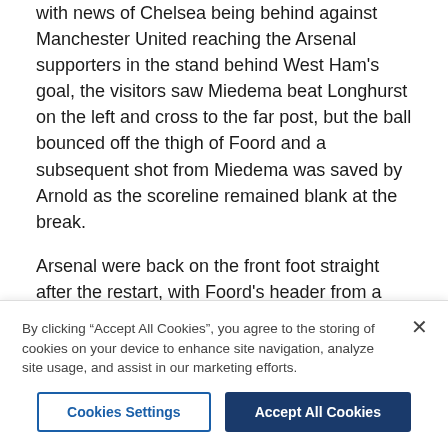with news of Chelsea being behind against Manchester United reaching the Arsenal supporters in the stand behind West Ham's goal, the visitors saw Miedema beat Longhurst on the left and cross to the far post, but the ball bounced off the thigh of Foord and a subsequent shot from Miedema was saved by Arnold as the scoreline remained blank at the break.
Arsenal were back on the front foot straight after the restart, with Foord's header from a Mead free-kick and McCabe's follow-up both blocked.
And Cissoko came up with another vital block to deny Foord after Miedema found her in the box following a quick breaking attack from halfway.
By clicking “Accept All Cookies”, you agree to the storing of cookies on your device to enhance site navigation, analyze site usage, and assist in our marketing efforts.